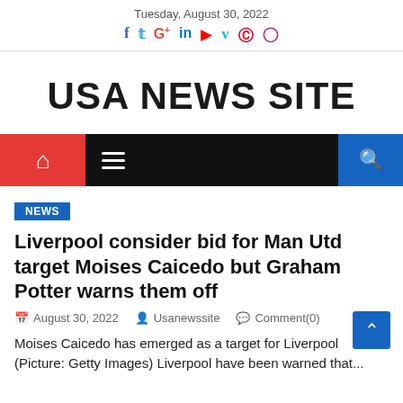Tuesday, August 30, 2022
USA NEWS SITE
NEWS
Liverpool consider bid for Man Utd target Moises Caicedo but Graham Potter warns them off
August 30, 2022   Usanewssite   Comment(0)
Moises Caicedo has emerged as a target for Liverpool (Picture: Getty Images) Liverpool have been warned that...